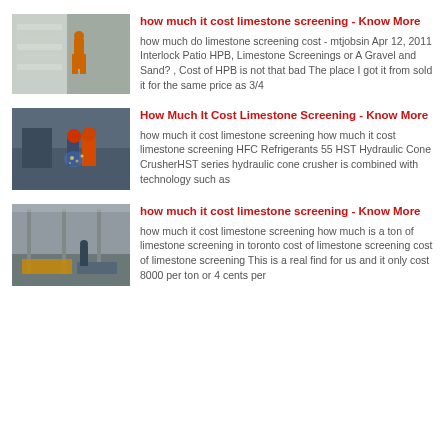[Figure (photo): Industrial worker in orange jumpsuit near metal sheets or panels in a factory]
how much it cost limestone screening - Know More
how much do limestone screening cost - mtjobsin Apr 12, 2011 Interlock Patio HPB, Limestone Screenings or A Gravel and Sand? , Cost of HPB is not that bad The place I got it from sold it for the same price as 3/4
[Figure (photo): Workers with helmets welding or cutting metal in a factory setting with sparks]
How Much It Cost Limestone Screening - Know More
how much it cost limestone screening how much it cost limestone screening HFC Refrigerants 55 HST Hydraulic Cone CrusherHST series hydraulic cone crusher is combined with technology such as
[Figure (photo): Large industrial warehouse or factory floor with equipment and machinery visible]
how much it cost limestone screening - Know More
how much it cost limestone screening how much is a ton of limestone screening in toronto cost of limestone screening cost of limestone screening This is a real find for us and it only cost 8000 per ton or 4 cents per